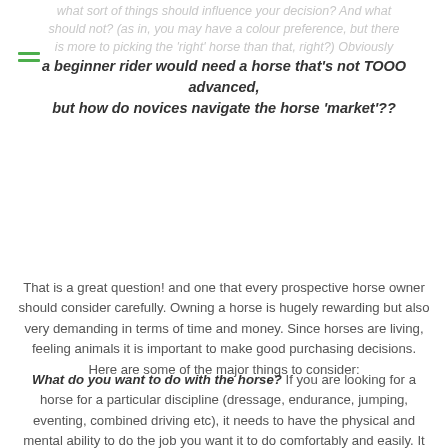what sort of things should influence your decision? And what should not? (as in, you may have a colour preference, but there is more to picking the 'right' horse than that, right?) Obviously a beginner rider would need a horse that's not TOOO advanced, but how do novices navigate the horse 'market'??
[Figure (other): Hamburger menu icon with two green horizontal lines]
That is a great question! and one that every prospective horse owner should consider carefully. Owning a horse is hugely rewarding but also very demanding in terms of time and money. Since horses are living, feeling animals it is important to make good purchasing decisions. Here are some of the major things to consider:
What do you want to do with the horse? If you are looking for a horse for a particular discipline (dressage, endurance, jumping, eventing, combined driving etc), it needs to have the physical and mental ability to do the job you want it to do comfortably and easily. It would not make sense to buy Big Jake (one of our Percheron draft horse) to jump Grand Prix Fences, or to buy